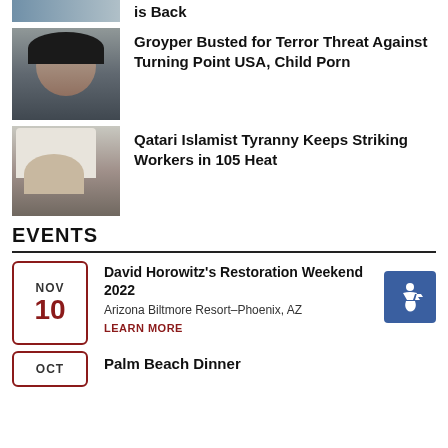[Figure (photo): Partial mugshot photos at top of page, cropped]
is Back
[Figure (photo): Mugshot of young man with dark hair]
Groyper Busted for Terror Threat Against Turning Point USA, Child Porn
[Figure (photo): Man in white traditional Arab headdress]
Qatari Islamist Tyranny Keeps Striking Workers in 105 Heat
EVENTS
David Horowitz's Restoration Weekend 2022
NOV 10
Arizona Biltmore Resort–Phoenix, AZ
LEARN MORE
Palm Beach Dinner
OCT